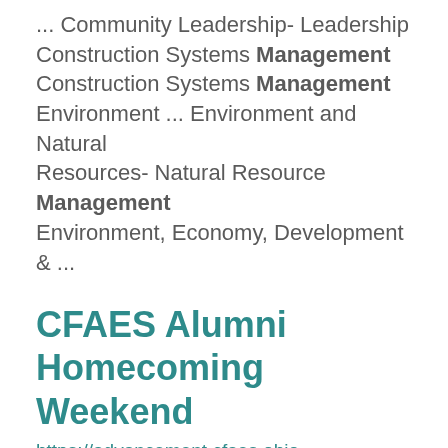... Community Leadership- Leadership Construction Systems Management Construction Systems Management Environment ... Environment and Natural Resources- Natural Resource Management Environment, Economy, Development & ...
CFAES Alumni Homecoming Weekend
https://advancement.cfaes.ohio-state.edu/alumni/homecoming
Research Complex (CEARC) and Waterman Agricultural and Natural Resources Laboratory Tours CEARC; Waterman ... million facility at the forefront of controlled